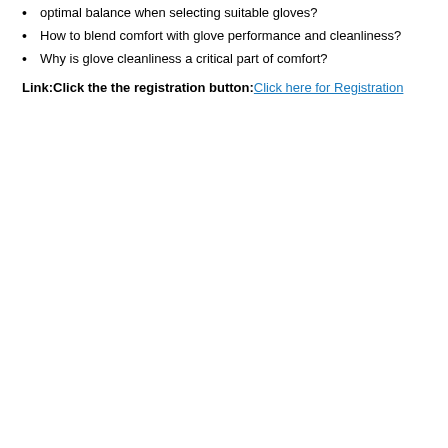optimal balance when selecting suitable gloves?
How to blend comfort with glove performance and cleanliness?
Why is glove cleanliness a critical part of comfort?
Link:Click the the registration button:Click here for Registration